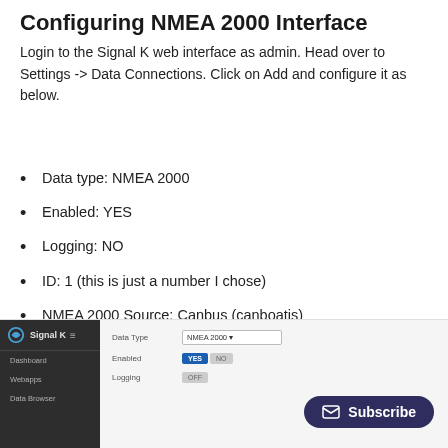Configuring NMEA 2000 Interface
Login to the Signal K web interface as admin. Head over to Settings -> Data Connections. Click on Add and configure it as below.
Data type: NMEA 2000
Enabled: YES
Logging: NO
ID: 1 (this is just a number I chose)
NMEA 2000 Source: Canbus (canboatjs)
Interface: can0
[Figure (screenshot): Signal K web interface screenshot showing Data Connections configuration panel with Data Type set to NMEA 2000, Enabled toggled YES, and Logging field visible. A dark navy Subscribe button overlay appears in the bottom-right corner.]